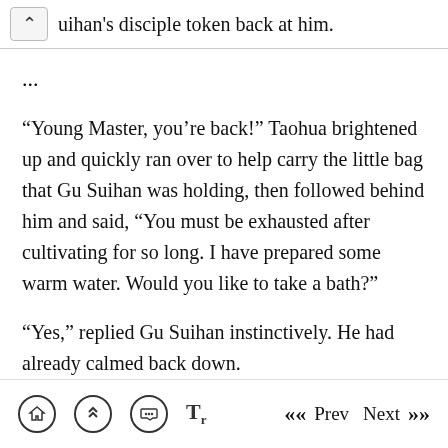uihan's disciple token back at him.
...
“Young Master, you’re back!” Taohua brightened up and quickly ran over to help carry the little bag that Gu Suihan was holding, then followed behind him and said, “You must be exhausted after cultivating for so long. I have prepared some warm water. Would you like to take a bath?”
“Yes,” replied Gu Suihan instinctively. He had already calmed back down.
Taohua stood by the bathtub and said, “Young Master. Li Xianlong came to the East Compound
Home | Up | Chat | Text | «« Prev | Next »»